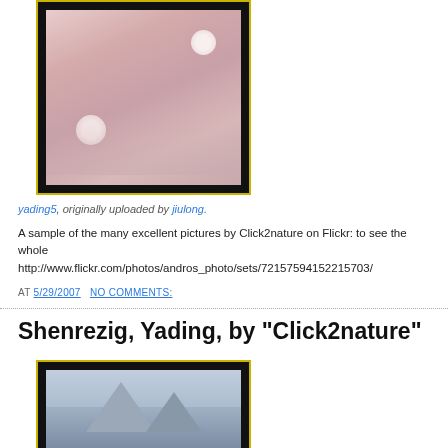[Figure (photo): Close-up photograph of a pink knitted sweater/cardigan with white flower decorations, shown in a gold and black frame]
yading5, originally uploaded by jiulong.
A sample of the many excellent pictures by Click2nature on Flickr: to see the whole http://www.flickr.com/photos/andros_photo/sets/72157594152215703/
AT 5/29/2007   NO COMMENTS:
Shenrezig, Yading, by "Click2nature"
[Figure (photo): Black and white or blue-toned photograph of a mountain peak (Shenrezig) in Yading, with dramatic cloudy sky, shown in a gold and black frame]